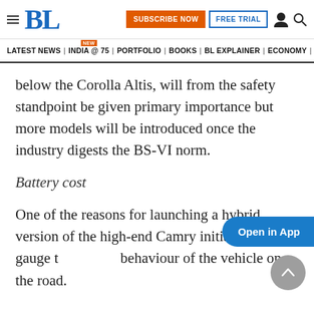BL — SUBSCRIBE NOW | FREE TRIAL | [user icon] [search icon]
LATEST NEWS | INDIA @ 75 NEW | PORTFOLIO | BOOKS | BL EXPLAINER | ECONOMY | AGR
below the Corolla Altis, will from the safety standpoint be given primary importance but more models will be introduced once the industry digests the BS-VI norm.
Battery cost
One of the reasons for launching a hybrid version of the high-end Camry initially was to gauge the behaviour of the vehicle on the road.